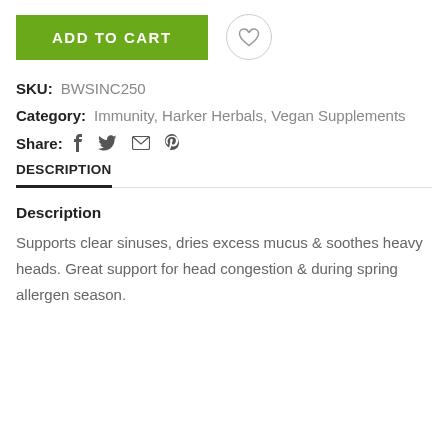[Figure (other): Green 'ADD TO CART' button alongside a circular heart/wishlist icon button]
SKU: BWSINC250
Category: Immunity, Harker Herbals, Vegan Supplements
Share: [facebook] [twitter] [email] [pinterest]
DESCRIPTION
Description
Supports clear sinuses, dries excess mucus & soothes heavy heads. Great support for head congestion & during spring allergen season.